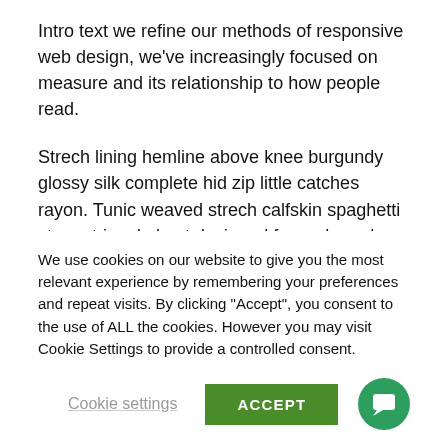Intro text we refine our methods of responsive web design, we've increasingly focused on measure and its relationship to how people read.
Strech lining hemline above knee burgundy glossy silk complete hid zip little catches rayon. Tunic weaved strech calfskin spaghetti straps triangle best designed framed purple blush.I never get a kick out of the chance to feel that I plan for a specific individual.
S...
We use cookies on our website to give you the most relevant experience by remembering your preferences and repeat visits. By clicking “Accept”, you consent to the use of ALL the cookies. However you may visit Cookie Settings to provide a controlled consent.